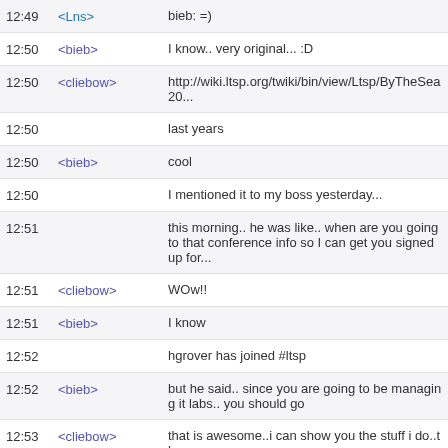12:49 <Lns> bieb: =)
12:50 <bieb> I know.. very original... :D
12:50 <cliebow> http://wiki.ltsp.org/twiki/bin/view/Ltsp/ByTheSea20...
12:50  last years
12:50 <bieb> cool
12:50  I mentioned it to my boss yesterday...
12:51  this morning.. he was like.. when are you going to that conference info so I can get you signed up for...
12:51 <cliebow> WOw!!
12:51 <bieb> I know
12:52  hgrover has joined #ltsp
12:52 <bieb> but he said.. since you are going to be managing it labs.. you should go
12:53 <cliebow> that is awesome..i can show you the stuff i do..tho...